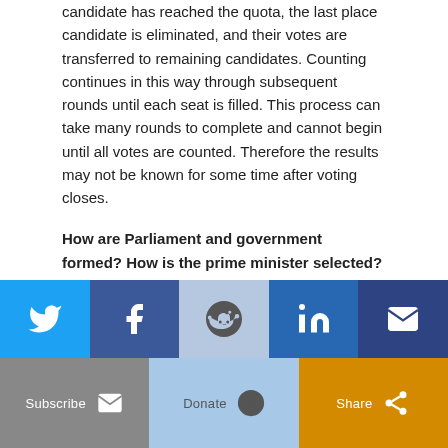candidate has reached the quota, the last place candidate is eliminated, and their votes are transferred to remaining candidates. Counting continues in this way through subsequent rounds until each seat is filled. This process can take many rounds to complete and cannot begin until all votes are counted. Therefore the results may not be known for some time after voting closes.
How are Parliament and government formed? How is the prime minister selected? The combination of multi-member districts and a quota-based electoral formula ensures the results are broadly proportional across the entire country. If any party receives more than half the seats, the governor general invites its leader to form a government. More often, no single party has a majority, and two or more parties come together to form a coalition. The prime minister is usually the leader of the largest party in the coalition.
[Figure (infographic): Social sharing bar with Twitter, Facebook, Reddit, LinkedIn, and Email icons on colored backgrounds (blue, dark blue, light blue, dark blue, dark navy)]
[Figure (infographic): Action bar with Subscribe (envelope icon, grey), Donate (plus icon, light blue), and Share (share icon, orange) buttons]